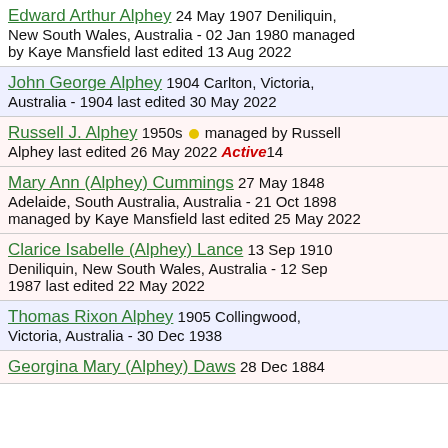Edward Arthur Alphey 24 May 1907 Deniliquin, New South Wales, Australia - 02 Jan 1980 managed by Kaye Mansfield last edited 13 Aug 2022
John George Alphey 1904 Carlton, Victoria, Australia - 1904 last edited 30 May 2022
Russell J. Alphey 1950s managed by Russell Alphey last edited 26 May 2022 Active 14
Mary Ann (Alphey) Cummings 27 May 1848 Adelaide, South Australia, Australia - 21 Oct 1898 managed by Kaye Mansfield last edited 25 May 2022
Clarice Isabelle (Alphey) Lance 13 Sep 1910 Deniliquin, New South Wales, Australia - 12 Sep 1987 last edited 22 May 2022
Thomas Rixon Alphey 1905 Collingwood, Victoria, Australia - 30 Dec 1938
Georgina Mary (Alphey) Daws 28 Dec 1884